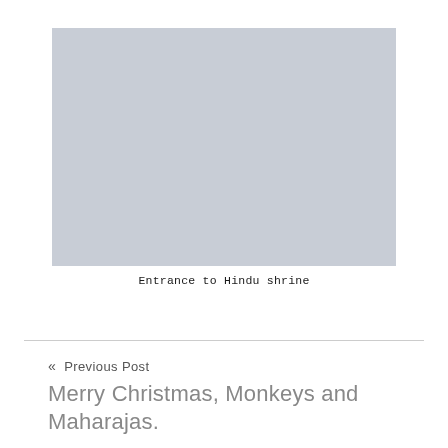[Figure (photo): A placeholder image with a light blue-grey background representing a photo of the entrance to a Hindu shrine.]
Entrance to Hindu shrine
« Previous Post
Merry Christmas, Monkeys and Maharajas.